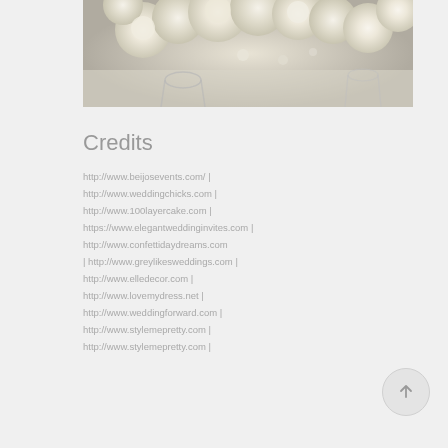[Figure (photo): Close-up photograph of white/cream roses and floral arrangement on a table, partially cropped at top]
Credits
http://www.beijosevents.com/  |
http://www.weddingchicks.com  |
http://www.100layercake.com  |
https://www.elegantweddinginvites.com  |
http://www.confettidaydreams.com
| http://www.greylikesweddings.com  |
http://www.elledecor.com  |
http://www.lovemydress.net  |
http://www.weddingforward.com  |
http://www.stylemepretty.com  |
http://www.stylemepretty.com  |